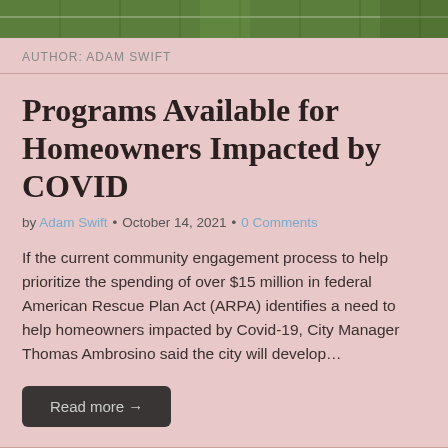[Figure (photo): Green football field image strip at top of page]
AUTHOR: ADAM SWIFT
Programs Available for Homeowners Impacted by COVID
by Adam Swift • October 14, 2021 • 0 Comments
If the current community engagement process to help prioritize the spending of over $15 million in federal American Rescue Plan Act (ARPA) identifies a need to help homeowners impacted by Covid-19, City Manager Thomas Ambrosino said the city will develop…
Read more →